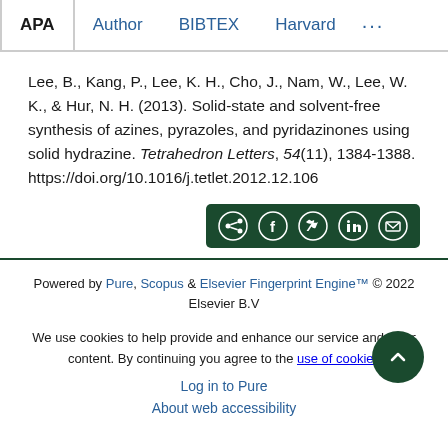APA | Author | BIBTEX | Harvard | ...
Lee, B., Kang, P., Lee, K. H., Cho, J., Nam, W., Lee, W. K., & Hur, N. H. (2013). Solid-state and solvent-free synthesis of azines, pyrazoles, and pyridazinones using solid hydrazine. Tetrahedron Letters, 54(11), 1384-1388. https://doi.org/10.1016/j.tetlet.2012.12.106
[Figure (other): Social share bar with share, Facebook, Twitter, LinkedIn, and email icons on dark green background]
Powered by Pure, Scopus & Elsevier Fingerprint Engine™ © 2022 Elsevier B.V
We use cookies to help provide and enhance our service and tailor content. By continuing you agree to the use of cookies
Log in to Pure
About web accessibility